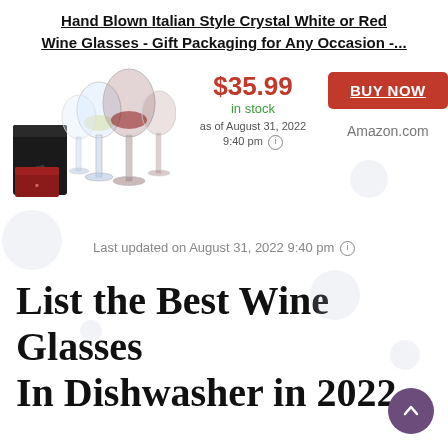Hand Blown Italian Style Crystal White or Red Wine Glasses - Gift Packaging for Any Occasion -...
[Figure (photo): Product photo showing a set of crystal wine glasses (white and red wine glasses) with gift packaging box]
$35.99
in stock
as of August 31, 2022 9:40 pm
BUY NOW
Amazon.com
Last updated on August 31, 2022 9:40 pm
List the Best Wine Glasses In Dishwasher in 2022